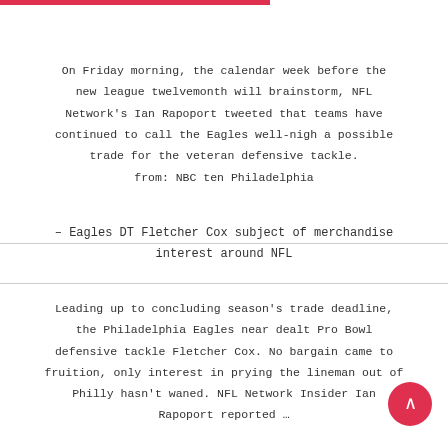On Friday morning, the calendar week before the new league twelvemonth will brainstorm, NFL Network's Ian Rapoport tweeted that teams have continued to call the Eagles well-nigh a possible trade for the veteran defensive tackle.
from: NBC ten Philadelphia
– Eagles DT Fletcher Cox subject of merchandise interest around NFL
Leading up to concluding season's trade deadline, the Philadelphia Eagles near dealt Pro Bowl defensive tackle Fletcher Cox. No bargain came to fruition, only interest in prying the lineman out of Philly hasn't waned. NFL Network Insider Ian Rapoport reported …